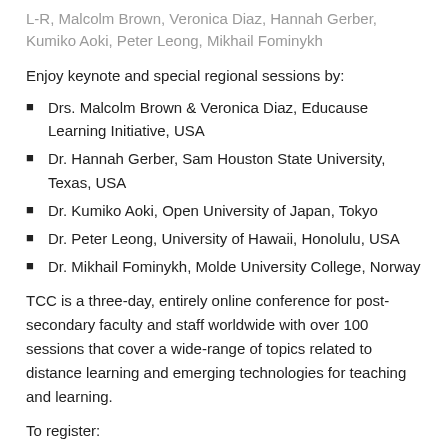L-R, Malcolm Brown, Veronica Diaz, Hannah Gerber, Kumiko Aoki, Peter Leong, Mikhail Fominykh
Enjoy keynote and special regional sessions by:
Drs. Malcolm Brown & Veronica Diaz, Educause Learning Initiative, USA
Dr. Hannah Gerber, Sam Houston State University, Texas, USA
Dr. Kumiko Aoki, Open University of Japan, Tokyo
Dr. Peter Leong, University of Hawaii, Honolulu, USA
Dr. Mikhail Fominykh, Molde University College, Norway
TCC is a three-day, entirely online conference for post-secondary faculty and staff worldwide with over 100 sessions that cover a wide-range of topics related to distance learning and emerging technologies for teaching and learning.
To register: